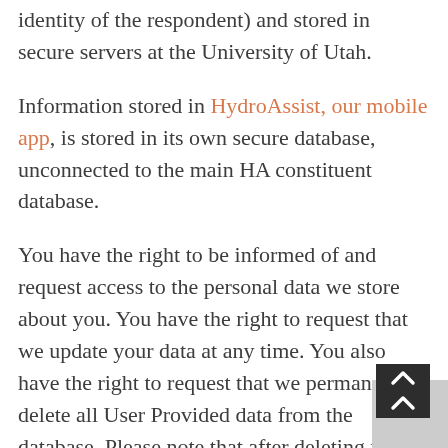identity of the respondent) and stored in secure servers at the University of Utah.
Information stored in HydroAssist, our mobile app, is stored in its own secure database, unconnected to the main HA constituent database.
You have the right to be informed of and request access to the personal data we store about you. You have the right to request that we update your data at any time. You also have the right to request that we permanently delete all User Provided data from the database. Please note that after deleting your User Provided data, if you choose to reinstate your